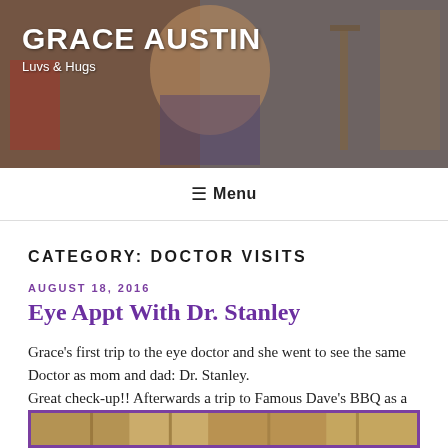[Figure (photo): Blog header banner showing a smiling girl with long hair, resting her chin on her hands, with musical instruments visible in the background]
GRACE AUSTIN
Luvs & Hugs
≡ Menu
CATEGORY: DOCTOR VISITS
AUGUST 18, 2016
Eye Appt With Dr. Stanley
Grace's first trip to the eye doctor and she went to see the same Doctor as mom and dad: Dr. Stanley. Great check-up!! Afterwards a trip to Famous Dave's BBQ as a reward!
PICTURES:
[Figure (photo): Bottom strip showing partial photo of what appears to be a doctor's office or medical setting]